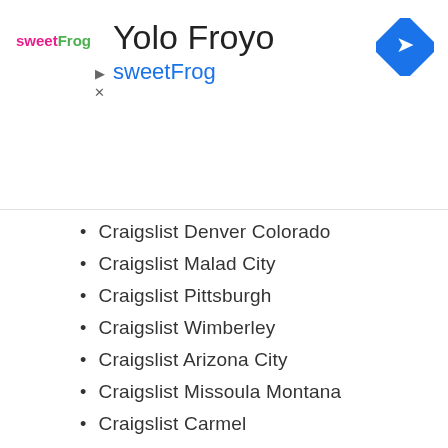[Figure (logo): sweetFrog logo with pink and green text]
Yolo Froyo
sweetFrog
[Figure (other): Blue diamond navigation/direction icon]
Craigslist Denver Colorado
Craigslist Malad City
Craigslist Pittsburgh
Craigslist Wimberley
Craigslist Arizona City
Craigslist Missoula Montana
Craigslist Carmel
Craigslist Wilmington
Craigslist Detroit
Craigslist Pasadena
Craigslist Minneapolis Mn
Craigslist B and E